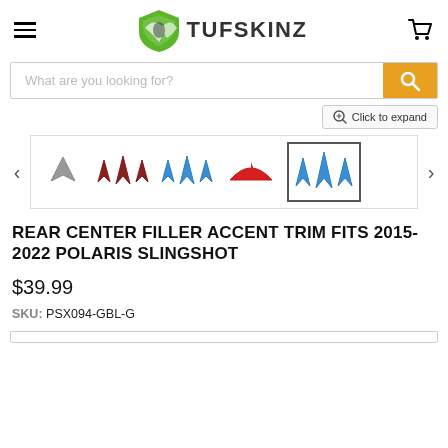TUFSKINZ - Durable Accessories
[Figure (screenshot): Search bar with placeholder text 'What are you looking for?' and an orange search button with a magnifying glass icon]
[Figure (screenshot): Thumbnail image carousel showing 5 product variants: gray fins, dark red fins, blue fins, red fins, and blue fins (selected). Navigation arrows on left and right.]
REAR CENTER FILLER ACCENT TRIM FITS 2015-2022 POLARIS SLINGSHOT
$39.99
SKU: PSX094-GBL-G